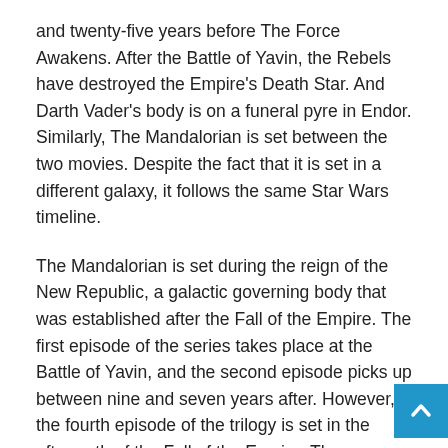and twenty-five years before The Force Awakens. After the Battle of Yavin, the Rebels have destroyed the Empire's Death Star. And Darth Vader's body is on a funeral pyre in Endor. Similarly, The Mandalorian is set between the two movies. Despite the fact that it is set in a different galaxy, it follows the same Star Wars timeline.
The Mandalorian is set during the reign of the New Republic, a galactic governing body that was established after the Fall of the Empire. The first episode of the series takes place at the Battle of Yavin, and the second episode picks up between nine and seven years after. However, the fourth episode of the trilogy is set in the aftermath of the Fall of the Empire. The Mandalorian: When Does the Mandalorian Take Place?
Although the Mandalorian is set five years after Episode VI – Return of the Jedi – the next movie will pick up right where it